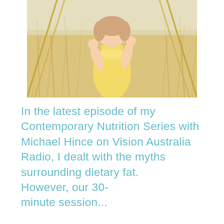[Figure (photo): A young girl in a yellow dress standing in a wheat/grain field, holding something up to her face, bright sunny outdoor setting.]
In the latest episode of my Contemporary Nutrition Series with Michael Hince on Vision Australia Radio, I dealt with the myths surrounding dietary fat.
However, our 30-minute session...